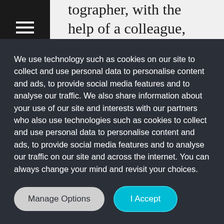tographer, with the help of a colleague, ing from a rock outcropping high above the Grand Canyon.
Burns: Those are the Kolb brothers, Emery and Ellsworth. They're central to the story of
We use technology such as cookies on our site to collect and use personal data to personalise content and ads, to provide social media features and to analyse our traffic. We also share information about your use of our site and interests with our partners who also use technologies such as cookies to collect and use personal data to personalise content and ads, to provide social media features and to analyse our traffic on our site and across the internet. You can always change your mind and revisit your choices.